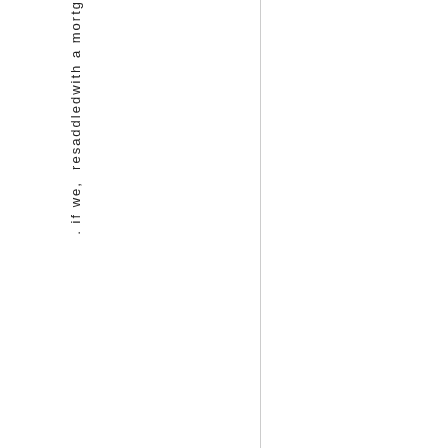. if we. resaddled with a mortg